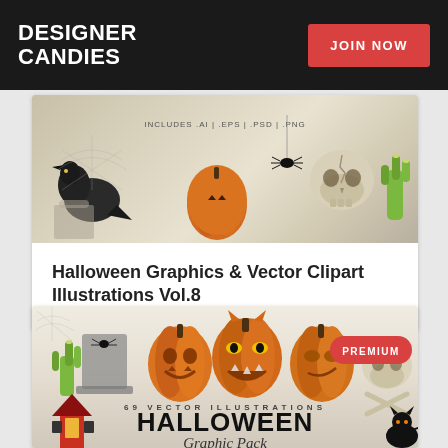DESIGNER CANDIES
JOIN NOW
[Figure (illustration): Halloween themed clipart image showing a crow, pumpkins, skull, spider, and zombie hand on a light background. Text reads: INCLUDES .AI | .EPS | .PSD | .PNG]
Halloween Graphics & Vector Clipart Illustrations Vol.8
[Figure (illustration): Halloween graphic pack promotional image with three jack-o-lanterns, zombie hand, skull, haunted house, black cat. Text reads: 69 VECTOR ILLUSTRATIONS HALLOWEEN Graphic Pack. Premium badge in red.]